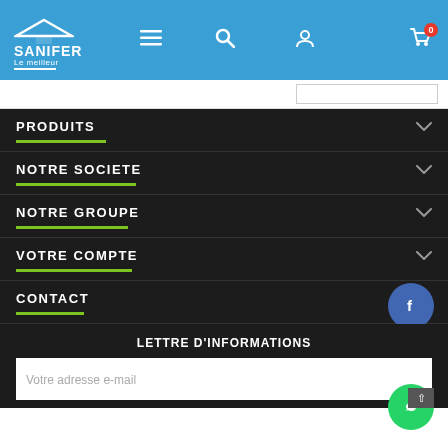[Figure (screenshot): Sanifer website header with logo, hamburger menu, search, user, and cart icons on blue background]
PRODUITS
NOTRE SOCIETE
NOTRE GROUPE
VOTRE COMPTE
CONTACT
LETTRE D'INFORMATIONS
Votre adresse e-mail